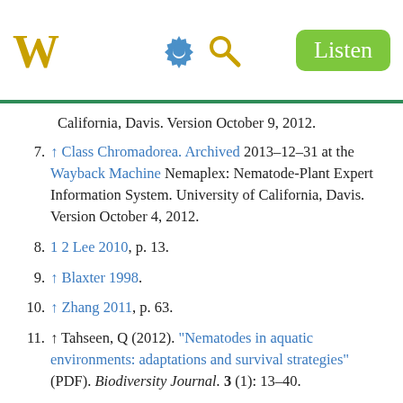W [Wikipedia logo] [settings icon] [search icon] Listen
California, Davis. Version October 9, 2012.
7. ↑ Class Chromadorea. Archived 2013-12-31 at the Wayback Machine Nemaplex: Nematode-Plant Expert Information System. University of California, Davis. Version October 4, 2012.
8. 1 2 Lee 2010, p. 13.
9. ↑ Blaxter 1998.
10. ↑ Zhang 2011, p. 63.
11. ↑ Tahseen, Q (2012). "Nematodes in aquatic environments: adaptations and survival strategies" (PDF). Biodiversity Journal. 3 (1): 13–40.